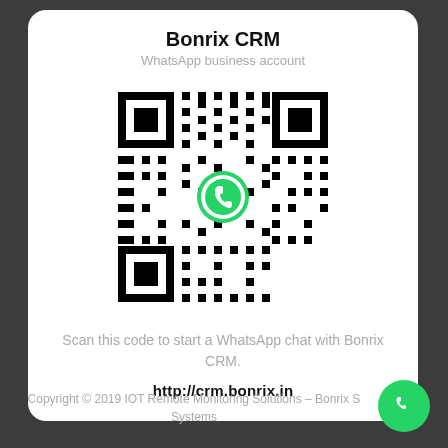Bonrix CRM
WhatsApp business account
[Figure (other): QR code with WhatsApp logo in center, for Bonrix CRM WhatsApp business account]
Scan this code to start a WhatsApp chat with Bonrix CRM.
http://crm.bonrix.in
Copyright © 2019 IOT Remote Monitoring Solutions – Bonrix Systems